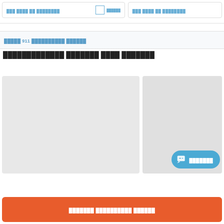███ ████ ██ ████████
██████
███ ████ ██ ████████
█████ 911 ██████████ ██████
█████████████ ███████ ████ ███████
[Figure (photo): Large grey placeholder image card]
[Figure (photo): Smaller grey placeholder image card]
███████
███████ ██████████ ██████